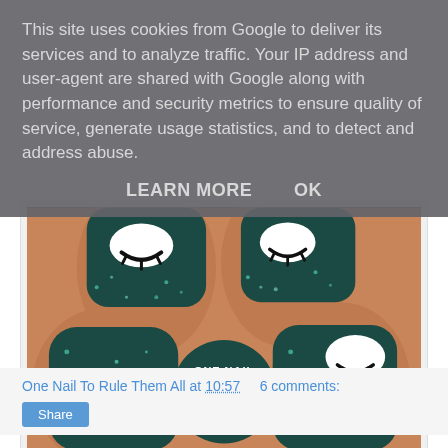This site uses cookies from Google to deliver its services and to analyze traffic. Your IP address and user-agent are shared with Google along with performance and security metrics to ensure quality of service, generate usage statistics, and to detect and address abuse.
LEARN MORE    OK
[Figure (photo): Close-up photo of painted fingernails with dark teal glitter polish and white nail art designs featuring black eyelash-like curves. A circular badge in the center reads 'ONE NAIL TO RULE THEM ALL' in white text on dark teal background.]
One Nail To Rule Them All at 10:57    6 comments:
Share